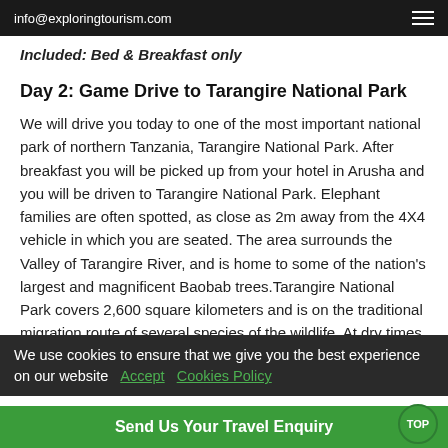info@exploringtourism.com
Included: Bed & Breakfast only
Day 2: Game Drive to Tarangire National Park
We will drive you today to one of the most important national park of northern Tanzania, Tarangire National Park. After breakfast you will be picked up from your hotel in Arusha and you will be driven to Tarangire National Park. Elephant families are often spotted, as close as 2m away from the 4X4 vehicle in which you are seated. The area surrounds the Valley of Tarangire River, and is home to some of the nation's largest and magnificent Baobab trees.Tarangire National Park covers 2,600 square kilometers and is on the traditional migration route of several species of the wildlife. At dry times, the concentration
We use cookies to ensure that we give you the best experience on our website  Accept  Cookies Policy
Send Us Your Travel Enquiry